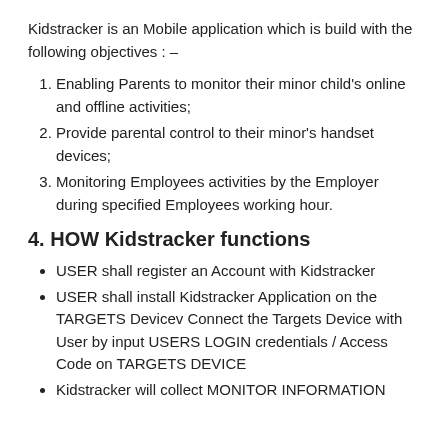Kidstracker is an Mobile application which is build with the following objectives : –
Enabling Parents to monitor their minor child's online and offline activities;
Provide parental control to their minor's handset devices;
Monitoring Employees activities by the Employer during specified Employees working hour.
4. HOW Kidstracker functions
USER shall register an Account with Kidstracker
USER shall install Kidstracker Application on the TARGETS Devicev Connect the Targets Device with User by input USERS LOGIN credentials / Access Code on TARGETS DEVICE
Kidstracker will collect MONITOR INFORMATION